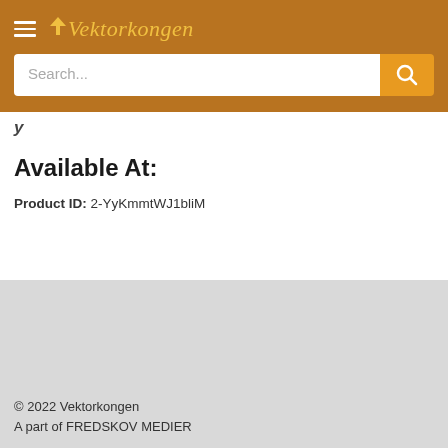Vektorkongen
Search...
y
Available At:
Product ID: 2-YyKmmtWJ1bliM
© 2022 Vektorkongen
A part of FREDSKOV MEDIER